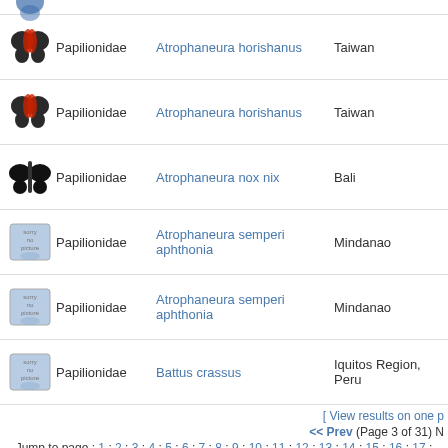| Image | Family | Species | Location |
| --- | --- | --- | --- |
| [butterfly img] | Papilionidae | Atrophaneura horishanus | Taiwan |
| [butterfly img] | Papilionidae | Atrophaneura horishanus | Taiwan |
| [butterfly img] | Papilionidae | Atrophaneura nox nix | Bali |
| [no picture] | Papilionidae | Atrophaneura semperi aphthonia | Mindanao |
| [no picture] | Papilionidae | Atrophaneura semperi aphthonia | Mindanao |
| [no picture] | Papilionidae | Battus crassus | Iquitos Region, Peru |
[ View results on one p
<< Prev (Page 3 of 31) N
Jump to page : 1 : 2 : 3 : 4 : 5 : 6 : 7 : 8 : 9 : 10 : 11 : 12 : 13 : 14 : 15 : 16 : 17 :
[home] [catalogue] [rarities & aberrations] [new arrivals] [quantity list] [ter
Copyright © 2001-2012 Thorne's Insect Shop
DESIGNED BY JUSTW